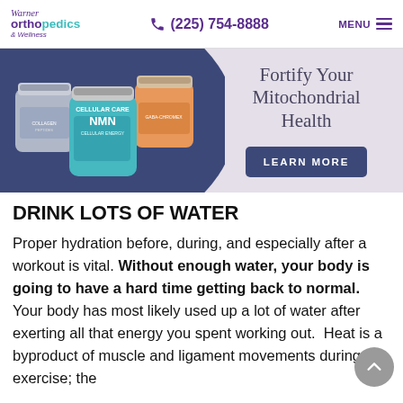Warner Orthopedics & Wellness | (225) 754-8888 | MENU
[Figure (illustration): Advertisement banner with supplement jars on dark blue background on the left, and text 'Fortify Your Mitochondrial Health' with a 'LEARN MORE' button on the right]
DRINK LOTS OF WATER
Proper hydration before, during, and especially after a workout is vital. Without enough water, your body is going to have a hard time getting back to normal. Your body has most likely used up a lot of water after exerting all that energy you spent working out. Heat is a byproduct of muscle and ligament movements during exercise; the